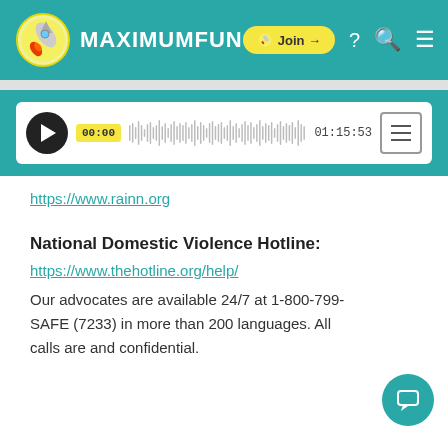MAXIMUMFUN
[Figure (screenshot): Audio player with play button, waveform, 00:00 timestamp, 01:15:53 duration, and menu icon]
https://www.rainn.org
National Domestic Violence Hotline:
https://www.thehotline.org/help/
Our advocates are available 24/7 at 1-800-799-SAFE (7233) in more than 200 languages. All calls are and confidential.